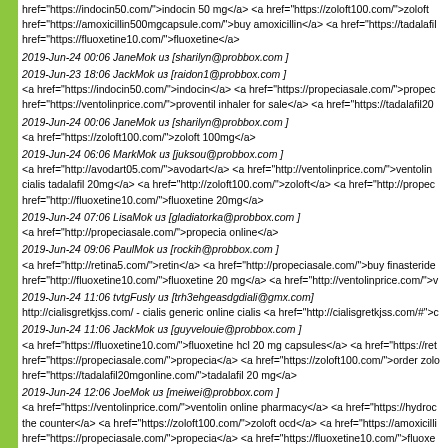href="https://indocin50.com/">indocin 50 mg</a> <a href="https://zoloft100.com/">zoloft href="https://amoxicillin500mgcapsule.com/">buy amoxicillin</a> <a href="https://tadalafil href="https://fluoxetine10.com/">fluoxetine</a>
2019-Jun-23 18:06 JackMok из [raidon1@probbox.com ]
<a href="https://indocin50.com/">indocin</a> <a href="https://propeciasale.com/">propec href="https://ventolinprice.com/">proventil inhaler for sale</a> <a href="https://tadalafil20
2019-Jun-24 00:06 JaneMok из [sharilyn@probbox.com ]
<a href="https://zoloft100.com/">zoloft 100mg</a>
2019-Jun-24 06:06 MarkMok из [juksou@probbox.com ]
<a href="http://avodart05.com/">avodart</a> <a href="http://ventolinprice.com/">ventolin cialis tadalafil 20mg</a> <a href="http://zoloft100.com/">zoloft</a> <a href="http://propec href="http://fluoxetine10.com/">fluoxetine 20mg</a>
2019-Jun-24 07:06 LisaMok из [gladiatorka@probbox.com ]
<a href="http://propeciasale.com/">propecia online</a>
2019-Jun-24 09:06 PaulMok из [rockih@probbox.com ]
<a href="http://retina5.com/">retin</a> <a href="http://propeciasale.com/">buy finasteride href="http://fluoxetine10.com/">fluoxetine 20 mg</a> <a href="http://ventolinprice.com/">v
2019-Jun-24 11:06 tvtgFusly из [trh3ehgeasdgdiali@gmx.com]
http://cialisgretkjss.com/ - cialis generic online cialis <a href="http://cialisgretkjss.com/#">c
2019-Jun-24 11:06 JackMok из [guyvelouie@probbox.com ]
<a href="https://fluoxetine10.com/">fluoxetine hcl 20 mg capsules</a> <a href="https://ret href="https://propeciasale.com/">propecia</a> <a href="https://zoloft100.com/">order zolo href="https://tadalafil20mgonline.com/">tadalafil 20 mg</a>
2019-Jun-24 12:06 JoeMok из [meiwei@probbox.com ]
<a href="https://ventolinprice.com/">ventolin online pharmacy</a> <a href="https://hydroc the counter</a> <a href="https://zoloft100.com/">zoloft ocd</a> <a href="https://amoxicilli href="https://propeciasale.com/">propecia</a> <a href="https://fluoxetine10.com/">fluoxe online</a> <a href="https://tadalafil20mgonline.com/">tadalafil tablets 20 mg</a> <a href= href="https://avodart05.com/">generic for avodart</a>
2019-Jun-24 14:06 jkikgeoto из [gsrgesy6ikadsolt@gmx.com]
http://cialisserfher.com/ - buy generic cialis online cialis online <a href="http://cialisserfher
2019-Jun-24 21:06 MiaMok из [olonaeloy@probbox.com ]